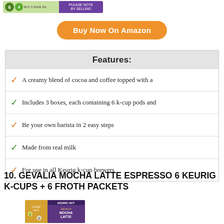[Figure (photo): Product package image strip at the top of the page showing green and purple packaging]
Buy Now On Amazon
Features:
A creamy blend of cocoa and coffee topped with a
Includes 3 boxes, each containing 6 k-cup pods and
Be your own barista in 2 easy steps
Made from real milk
For use in all Keurig k-cup brewers
10. GEVALIA MOCHA LATTE ESPRESSO 6 KEURIG K-CUPS + 6 FROTH PACKETS
[Figure (photo): Gevalia Mocha Latte Espresso product box showing 2-step Keurig k-cup system with purple and gold packaging]